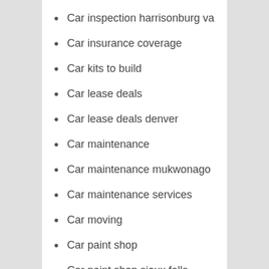Car inspection harrisonburg va
Car insurance coverage
Car kits to build
Car lease deals
Car lease deals denver
Car maintenance
Car maintenance mukwonago
Car maintenance services
Car moving
Car paint shop
Car paint shop sioux falls